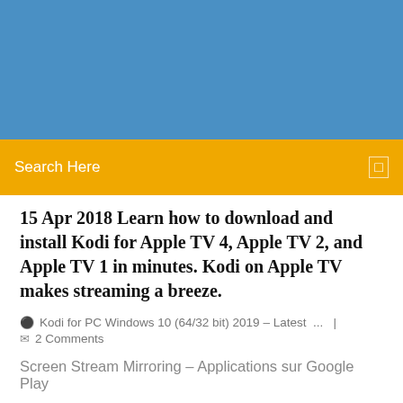[Figure (other): Blue banner/header image area at the top of the webpage]
Search Here
15 Apr 2018 Learn how to download and install Kodi for Apple TV 4, Apple TV 2, and Apple TV 1 in minutes. Kodi on Apple TV makes streaming a breeze.
Kodi for PC Windows 10 (64/32 bit) 2019 – Latest ...  |  2 Comments
Screen Stream Mirroring – Applications sur Google Play